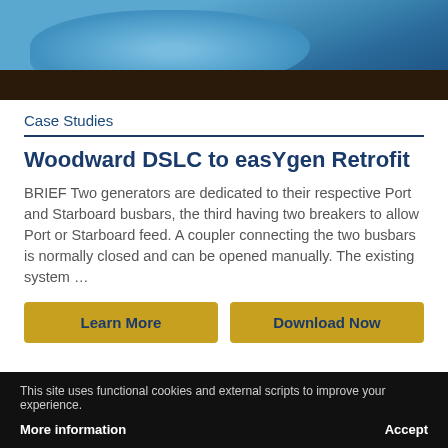[Figure (photo): Partial photo of a blue garment or fabric with dark background, cropped at top]
Case Studies
Woodward DSLC to easYgen Retrofit
BRIEF Two generators are dedicated to their respective Port and Starboard busbars, the third having two breakers to allow Port or Starboard feed. A coupler connecting the two busbars is normally closed and can be opened manually. The existing system …
Learn More
Download Now
This site uses functional cookies and external scripts to improve your experience.
More information
Accept